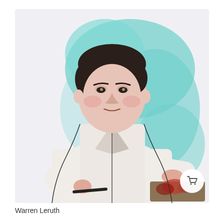[Figure (illustration): Pop-art style illustration of Warren Leruth, a chef in a white chef's coat, holding a cooking tool and working over a tray of food. The background features teal/turquoise brushstroke shapes. The figure is rendered in a graphic, stylized manner with pinkish skin tones and dark outlines.]
Warren Leruth